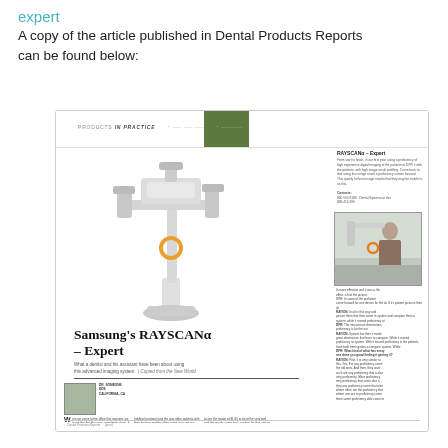expert
A copy of the article published in Dental Products Reports can be found below:
[Figure (photo): Thumbnail/miniature of a Dental Products Reports magazine article page featuring Samsung's RAYSCANα – Expert CBCT imaging system, showing the machine image, article title, body text columns, and a sidebar with product info and a photo of a person with the machine.]